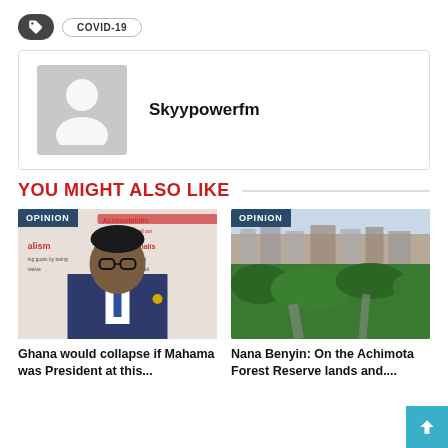COVID-19
Skyypowerfm
YOU MIGHT ALSO LIKE
[Figure (photo): Man in suit with glasses, seated, in front of a banner with text about accountability, professionalism, and respect. Labeled OPINION.]
Ghana would collapse if Mahama was President at this...
[Figure (photo): Aerial view of a city with green forest reserve area in the foreground and urban buildings in the background. Labeled OPINION.]
Nana Benyin: On the Achimota Forest Reserve lands and....